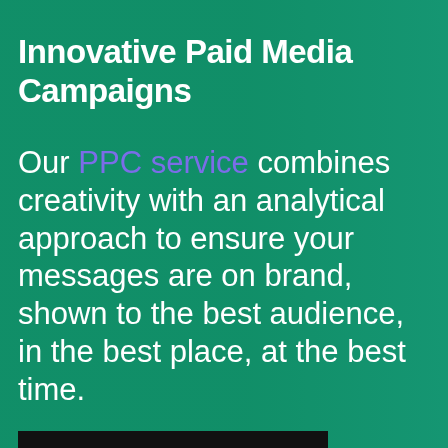Innovative Paid Media Campaigns
Our PPC service combines creativity with an analytical approach to ensure your messages are on brand, shown to the best audience, in the best place, at the best time.
Get started today
Increase visitors '&